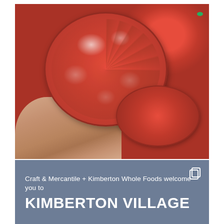[Figure (photo): Close-up photo of a person's hand holding a large sliced tomato cut in half, showing the interior cross-section with seeds and juice. Multiple whole red tomatoes visible in the background.]
Craft & Mercantile + Kimberton Whole Foods welcome you to
KIMBERTON VILLAGE